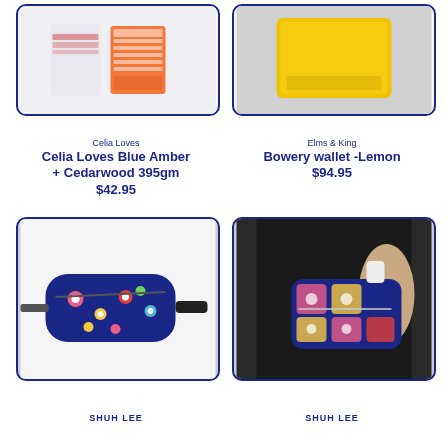[Figure (photo): Celia Loves Blue Amber + Cedarwood candle and box product photo on white background]
[Figure (photo): Elms & King Bowery wallet in lemon yellow color on white/grey background]
Celia Loves
Celia Loves Blue Amber + Cedarwood 395gm
$42.95
Elms & King
Bowery wallet -Lemon
$94.95
[Figure (photo): Shuh Lee floral print bum bag / fanny pack on white background, navy blue with colorful flowers]
[Figure (photo): Person holding Shuh Lee colorful floral patchwork bum bag / fanny pack, wearing black sweater]
SHUH LEE
SHUH LEE